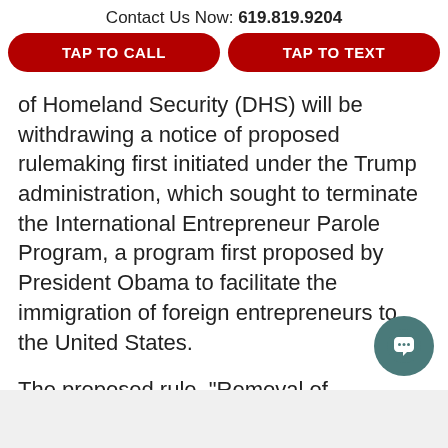Contact Us Now: 619.819.9204
TAP TO CALL
TAP TO TEXT
of Homeland Security (DHS) will be withdrawing a notice of proposed rulemaking first initiated under the Trump administration, which sought to terminate the International Entrepreneur Parole Program, a program first proposed by President Obama to facilitate the immigration of foreign entrepreneurs to the United States.
The proposed rule, “Removal of International Entrepreneur Parole Program,” was first issued by the Trump administration on May 29, 2018, shortly after President Trump signed Executive